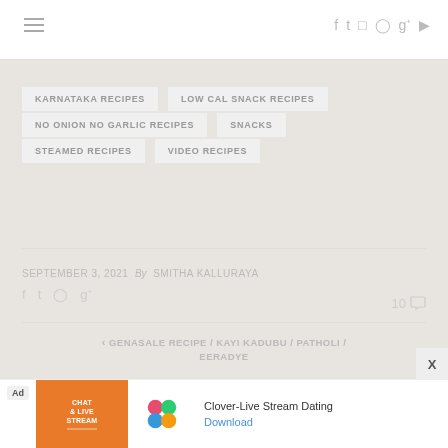≡  f  t  instagram  pinterest  g+  youtube
KARNATAKA RECIPES
LOW CAL SNACK RECIPES
NO ONION NO GARLIC RECIPES
SNACKS
STEAMED RECIPES
VIDEO RECIPES
SEPTEMBER 3, 2021 By SMITHA KALLURAYA
10 comments
< GENASALE RECIPE / KAYI KADUBU / PATHOLI / EERADYE
GUDANNA RECIPE / BELLADA ANNA / NEI PAYASAM / JAGGERY RICE >
[Figure (infographic): Advertisement banner for Clover-Live Stream Dating app showing orange chat image, Clover clover-leaf logo, app name and Download link]